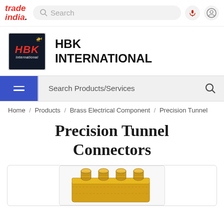tradeindia. Search [search bar] [mic] [user]
HBK INTERNATIONAL
Search Products/Services
Home / Products / Brass Electrical Component / Precision Tunnel
Precision Tunnel Connectors
[Figure (photo): Precision Tunnel Connectors product image showing gold-colored brass tunnel connector blocks with threaded tops]